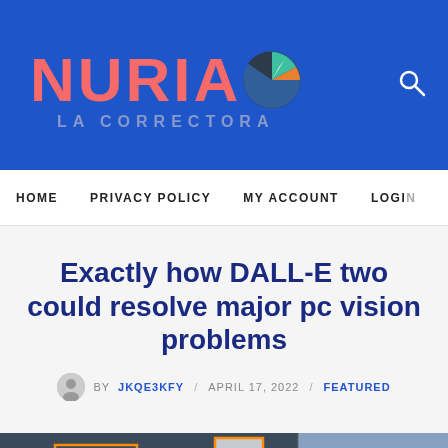NURIA LA CORRECTORA
HOME   PRIVACY POLICY   MY ACCOUNT   LOGIN
Exactly how DALL-E two could resolve major pc vision problems
BY JKQE3KFY / APRIL 17, 2022 / FEATURED
[Figure (photo): Computer vision photo showing cars with orange bounding boxes overlaid, illustrating object detection.]